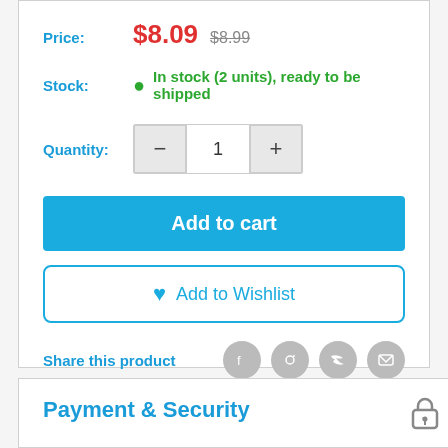Price: $8.09  $8.99
Stock: In stock (2 units), ready to be shipped
Quantity: 1
Add to cart
Add to Wishlist
Share this product
Payment & Security